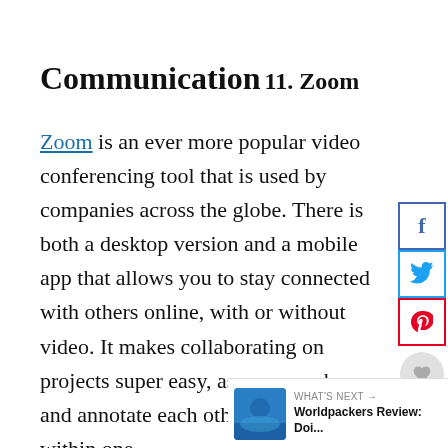Communication
11. Zoom
Zoom is an ever more popular video conferencing tool that is used by companies across the globe. There is both a desktop version and a mobile app that allows you to stay connected with others online, with or without video. It makes collaborating on projects super easy, as you can share and annotate each other screens all within one